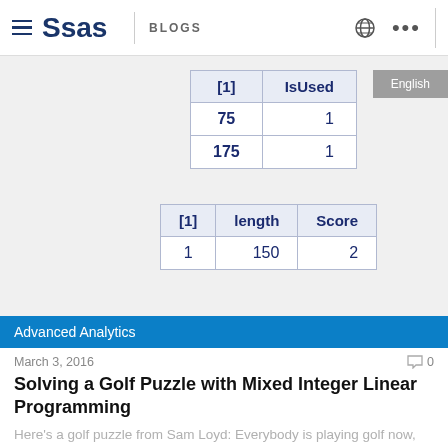SAS BLOGS
| [1] | IsUsed |
| --- | --- |
| 75 | 1 |
| 175 | 1 |
| [1] | length | Score |
| --- | --- | --- |
| 1 | 150 | 2 |
Advanced Analytics
March 3, 2016
Solving a Golf Puzzle with Mixed Integer Linear Programming
Here's a golf puzzle from Sam Loyd: Everybody is playing golf now, and even the lazy ones who a few